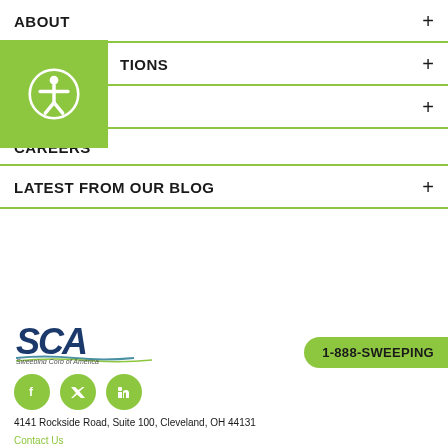ABOUT +
TIONS +
MARKETS +
CAREERS
LATEST FROM OUR BLOG +
[Figure (logo): SCA Sweeping Corp of America logo]
1-888-SWEEPING
[Figure (infographic): Social media icons: Facebook, Twitter, LinkedIn]
4141 Rockside Road, Suite 100, Cleveland, OH 44131
Contact Us